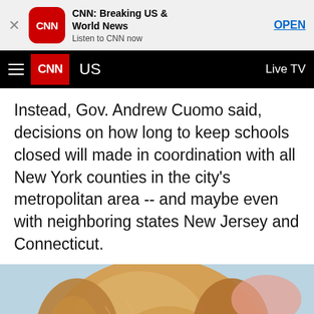[Figure (screenshot): App store banner for CNN Breaking US & World News app with close button, CNN icon, title, subtitle 'Listen to CNN now', and OPEN button]
US  Live TV
Instead, Gov. Andrew Cuomo said, decisions on how long to keep schools closed will made in coordination with all New York counties in the city's metropolitan area -- and maybe even with neighboring states New Jersey and Connecticut.
[Figure (photo): Close-up photo of a golden retriever dog looking at the camera]